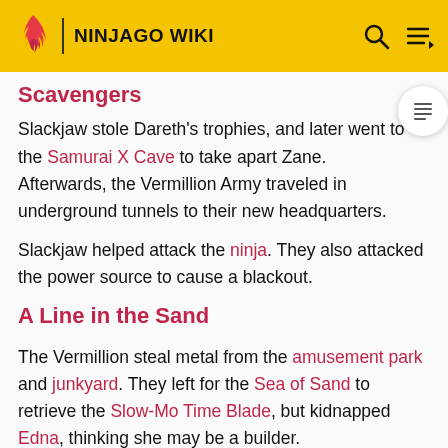NINJAGO WIKI
Scavengers
Slackjaw stole Dareth's trophies, and later went to the Samurai X Cave to take apart Zane. Afterwards, the Vermillion Army traveled in underground tunnels to their new headquarters.
Slackjaw helped attack the ninja. They also attacked the power source to cause a blackout.
A Line in the Sand
The Vermillion steal metal from the amusement park and junkyard. They left for the Sea of Sand to retrieve the Slow-Mo Time Blade, but kidnapped Edna, thinking she may be a builder.